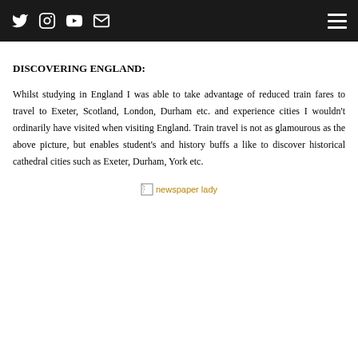Social media icons (Twitter, Instagram, YouTube, Email) and hamburger menu
DISCOVERING ENGLAND:
Whilst studying in England I was able to take advantage of reduced train fares to travel to Exeter, Scotland, London, Durham etc. and experience cities I wouldn't ordinarily have visited when visiting England. Train travel is not as glamourous as the above picture, but enables student's and history buffs a like to discover historical cathedral cities such as Exeter, Durham, York etc.
[Figure (photo): Broken image placeholder labeled 'newspaper lady']